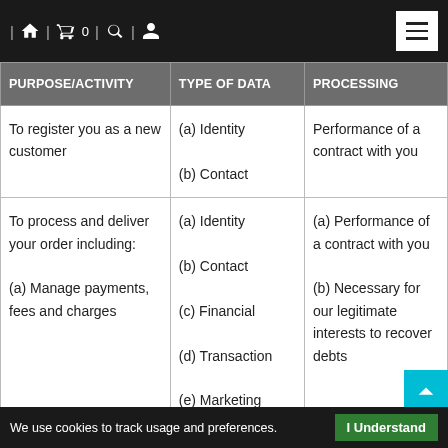Navigation bar with home, cart (0), search, user icons and hamburger menu
| PURPOSE/ACTIVITY | TYPE OF DATA | PROCESSING |
| --- | --- | --- |
| To register you as a new customer | (a) Identity

(b) Contact | Performance of a contract with you |
| To process and deliver your order including:

(a) Manage payments, fees and charges | (a) Identity

(b) Contact

(c) Financial

(d) Transaction

(e) Marketing and Communications | (a) Performance of a contract with you

(b) Necessary for our legitimate interests to recover debts owed |
We use cookies to track usage and preferences. | I Understand